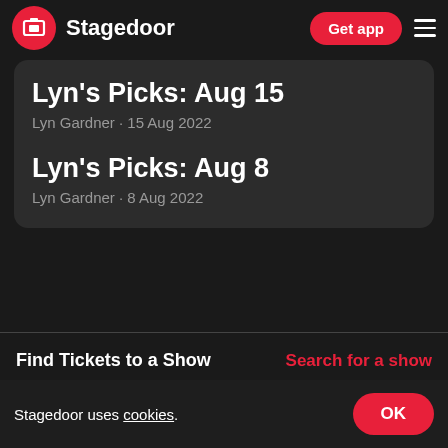Stagedoor — Get app
Lyn's Picks: Aug 15
Lyn Gardner · 15 Aug 2022
Lyn's Picks: Aug 8
Lyn Gardner · 8 Aug 2022
Find Tickets to a Show
Search for a show
Come From Away Tickets
Matilda The Musical Tickets
Stagedoor uses cookies.
OK